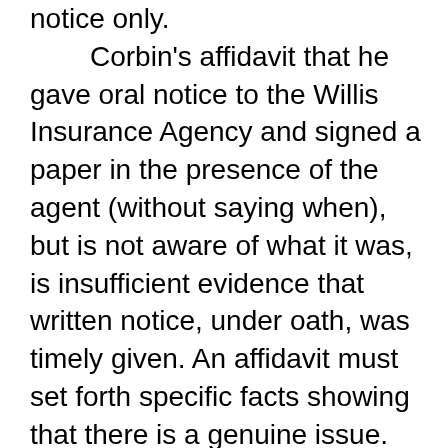notice only. Corbin's affidavit that he gave oral notice to the Willis Insurance Agency and signed a paper in the presence of the agent (without saying when), but is not aware of what it was, is insufficient evidence that written notice, under oath, was timely given. An affidavit must set forth specific facts showing that there is a genuine issue. Code Ann. 81A-156 (e). In the absence of conduct amounting to waiver or estoppel, oral notice is not sufficient where written notice is required. Stubbs v. State Farm Mut. Auto. Ins. Co., 120 Ga. App. 750 (172 SE2d 441); 13 Couch on Insurance 2d 49:30, 49:107;